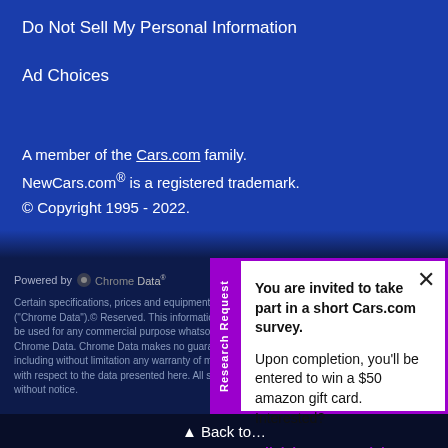Do Not Sell My Personal Information
Ad Choices
A member of the Cars.com family.
NewCars.com® is a registered trademark.
© Copyright 1995 - 2022.
Powered by Chrome Data
Certain specifications, prices and equipment data were supplied to Chrome Data Solutions ("Chrome Data").© Reserved. This information is supplied for personal use only and may not be used for any commercial purpose whatsoever without the expressed written consent of Chrome Data. Chrome Data makes no guarantee or warranty, either expressed or implied, including without limitation any warranty of merchantability or fitness for particular purpose, with respect to the data presented here. All specifications and prices are subject to change without notice.
▲ Back to top
Research Request
× (close)
You are invited to take part in a short Cars.com survey.

Upon completion, you'll be entered to win a $50 amazon gift card. Interested?
Click here to participate